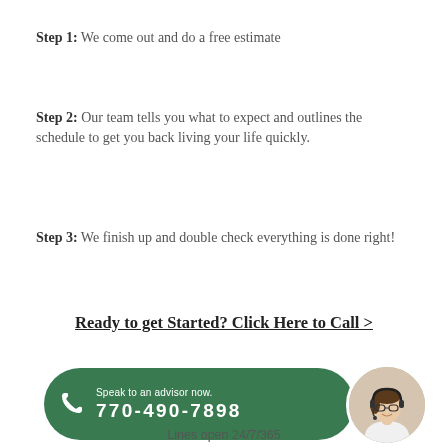Step 1: We come out and do a free estimate
Step 2: Our team tells you what to expect and outlines the schedule to get you back living your life quickly.
Step 3: We finish up and double check everything is done right!
Ready to get Started? Click Here to Call >
[Figure (infographic): Green pill-shaped phone banner with white phone icon, 'Speak to an advisor now.' label, phone number 770-490-7898, and a circular photo of a woman wearing glasses and a headset on the right side.]
Lines open 24/7/365